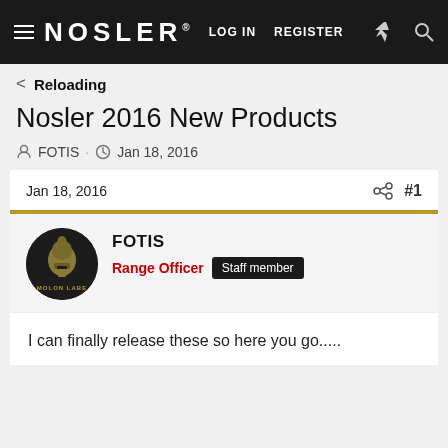NOSLER® LOG IN REGISTER
< Reloading
Nosler 2016 New Products
FOTIS · Jan 18, 2016
Jan 18, 2016  #1
FOTIS
Range Officer  Staff member
I can finally release these so here you go.....